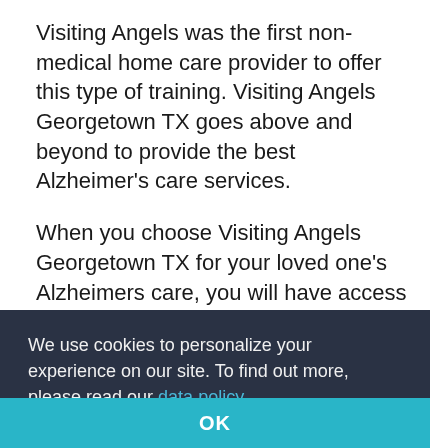Visiting Angels was the first non-medical home care provider to offer this type of training. Visiting Angels Georgetown TX goes above and beyond to provide the best Alzheimer's care services.
When you choose Visiting Angels Georgetown TX for your loved one's Alzheimers care, you will have access to a variety of helpful services. Whether your family member is newly diagnosed or living with a more advanced condition, our caregivers can come to your home. Visiting Angels Georgetown TX will...
We use cookies to personalize your experience on our site. To find out more, please read our data policy.
OK
on to ensure good nutrition, calendar and